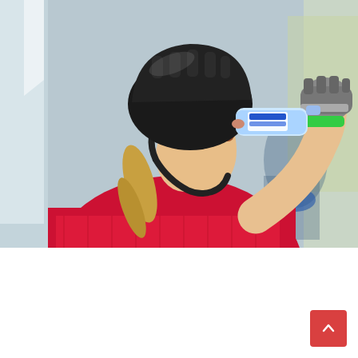[Figure (photo): A female mountain biker wearing a black helmet, red jersey, and cycling gloves, drinking from a water bottle. She is photographed from the side with a blurred background showing other cyclists and event banners.]
In the final of our four part reveal of the results of the 2021 South African Mountain Biking Survey, presented by Garmin, we examine gear choices. A total of 3093 took our 53-question survey in December 2021. Here's a look